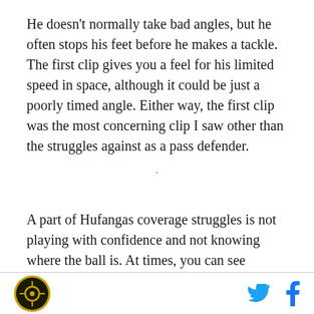He doesn't normally take bad angles, but he often stops his feet before he makes a tackle. The first clip gives you a feel for his limited speed in space, although it could be just a poorly timed angle. Either way, the first clip was the most concerning clip I saw other than the struggles against as a pass defender.
A part of Hufangas coverage struggles is not playing with confidence and not knowing where the ball is. At times, you can see Hufanga grab when he doesn't need to because he doesn't trust his technique. It is
[logo] [twitter] [facebook]